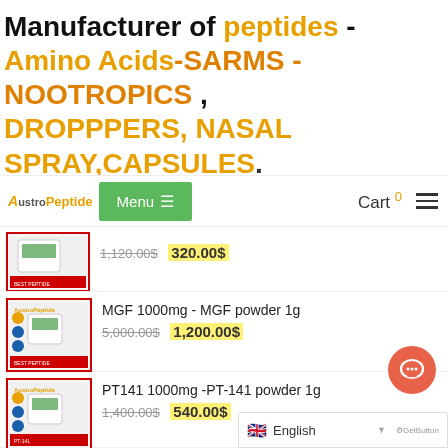Manufacturer of peptides - Amino Acids-SARMS -NOOTROPICS , DROPPPERS, NASAL SPRAY,CAPSULES.
[Figure (screenshot): AustroPeptide website navigation bar with logo, green Menu button, Cart 0 link, and hamburger icon]
[Figure (photo): Product image - partially visible product with strikethrough price 1,120.00$ and sale price 320.00$]
1,120.00$ 320.00$
[Figure (photo): AustroPeptide MGF 1000mg vial product image]
MGF 1000mg - MGF powder 1g
5,000.00$ 1,200.00$
[Figure (photo): AustroPeptide PT141 1000mg vial product image]
PT141 1000mg -PT-141 powder 1g
1,400.00$ 540.00$
English